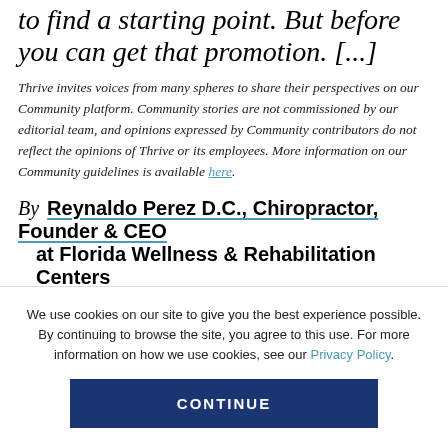to find a starting point. But before you can get that promotion. [...]
Thrive invites voices from many spheres to share their perspectives on our Community platform. Community stories are not commissioned by our editorial team, and opinions expressed by Community contributors do not reflect the opinions of Thrive or its employees. More information on our Community guidelines is available here.
By Reynaldo Perez D.C., Chiropractor, Founder & CEO at Florida Wellness & Rehabilitation Centers
We use cookies on our site to give you the best experience possible. By continuing to browse the site, you agree to this use. For more information on how we use cookies, see our Privacy Policy.
CONTINUE